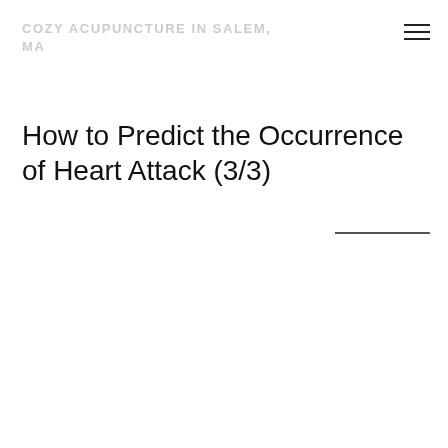COZY ACUPUNCTURE IN SALEM, MA
How to Predict the Occurrence of Heart Attack (3/3)